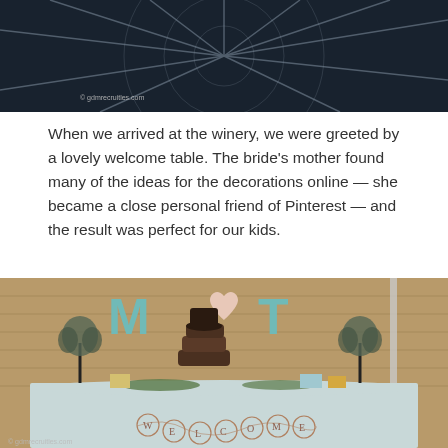[Figure (photo): Dark photo showing overhead view of a patterned surface (possibly a tent ceiling or umbrella) with radial lines, with a watermark reading '© gdmrecruitles.com']
When we arrived at the winery, we were greeted by a lovely welcome table. The bride's mother found many of the ideas for the decorations online — she became a close personal friend of Pinterest — and the result was perfect for our kids.
[Figure (photo): Photo of a rustic wedding welcome table with a light blue tablecloth, decorated with the letters M and T (teal) with a heart between them, the word 'love', flowers, greenery, stacked suitcases, and a 'WELCOME' bunting banner. Watermark reads '© gdmrecruitles.com'.]